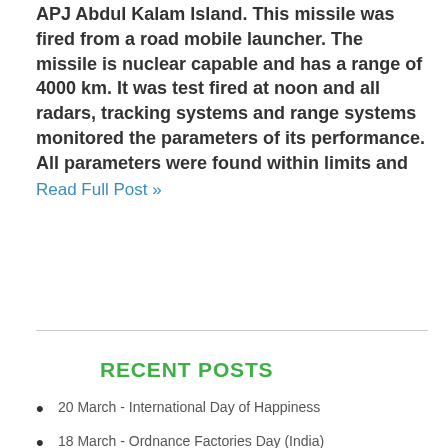APJ Abdul Kalam Island. This missile was fired from a road mobile launcher. The missile is nuclear capable and has a range of 4000 km. It was test fired at noon and all radars, tracking systems and range systems monitored the parameters of its performance. All parameters were found within limits and
Read Full Post »
RECENT POSTS
20 March - International Day of Happiness
18 March - Ordnance Factories Day (India)
16 March - National Vaccination Day
15 March - World Consumer Rights Day15 March - World Consumer Rights Day
Pi Day